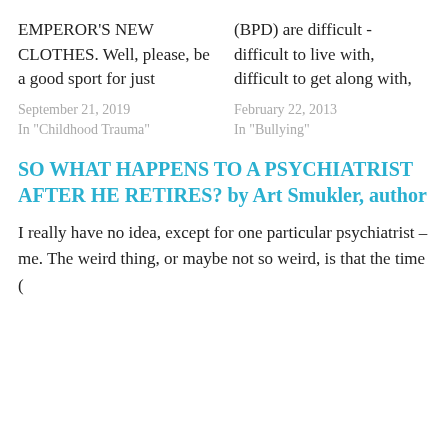EMPEROR'S NEW CLOTHES. Well, please, be a good sport for just
September 21, 2019
In "Childhood Trauma"
(BPD) are difficult - difficult to live with, difficult to get along with,
February 22, 2013
In "Bullying"
SO WHAT HAPPENS TO A PSYCHIATRIST AFTER HE RETIRES? by Art Smukler, author
I really have no idea, except for one particular psychiatrist – me. The weird thing, or maybe not so weird, is that the time (